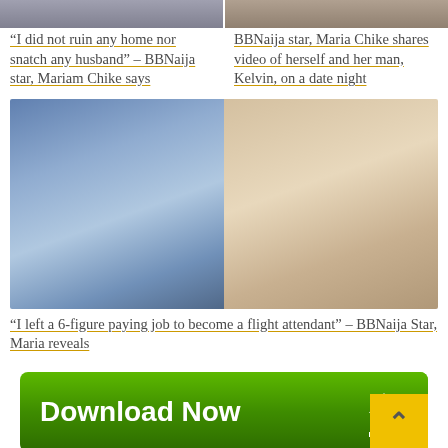[Figure (photo): Two side-by-side cropped photos of women at top of page]
“I did not ruin any home nor snatch any husband” – BBNaija star, Mariam Chike says
BBNaija star, Maria Chike shares video of herself and her man, Kelvin, on a date night
[Figure (photo): Collage of two photos of a woman (BBNaija star Maria) - one outdoors in white dress, one wearing red hat and white scarf]
“I left a 6-figure paying job to become a flight attendant” – BBNaija Star, Maria reveals
[Figure (other): Green Download Now button with download arrow icon]
Click Here to Join our